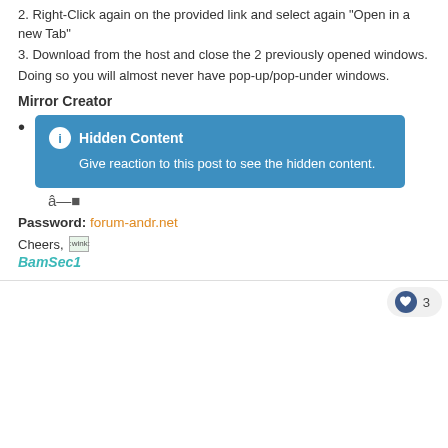2. Right-Click again on the provided link and select again "Open in a new Tab"
3. Download from the host and close the 2 previously opened windows.
Doing so you will almost never have pop-up/pop-under windows.
Mirror Creator
Hidden Content
Give reaction to this post to see the hidden content.
â—
Password: forum-andr.net
Cheers, :wink:
BamSec1
3